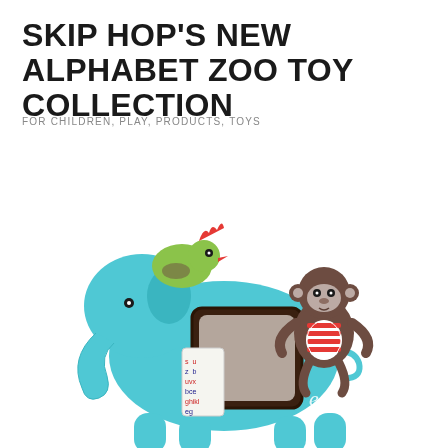SKIP HOP'S NEW ALPHABET ZOO TOY COLLECTION
FOR CHILDREN, PLAY, PRODUCTS, TOYS
[Figure (photo): Skip Hop Alphabet Zoo toy featuring a teal/blue plush elephant with a built-in mirror frame, a green and red bird on top, a brown monkey figure with red and white striped chest sitting on the side, and an alphabet-printed fabric tag hanging from the elephant's body.]